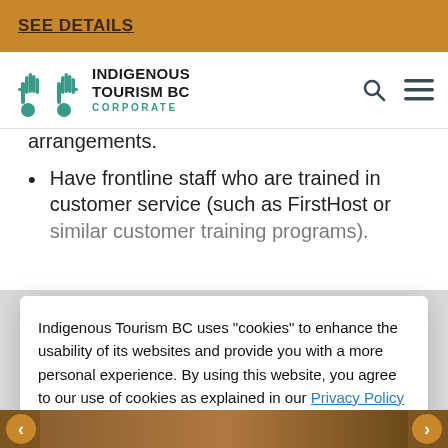SEE DETAILS
[Figure (logo): Indigenous Tourism BC Corporate logo with teal hand/bird icon]
arrangements.
Have frontline staff who are trained in customer service (such as FirstHost or similar customer training programs).
Indigenous Tourism BC uses "cookies" to enhance the usability of its websites and provide you with a more personal experience. By using this website, you agree to our use of cookies as explained in our Privacy Policy
I UNDERSTAND
Get Inspired